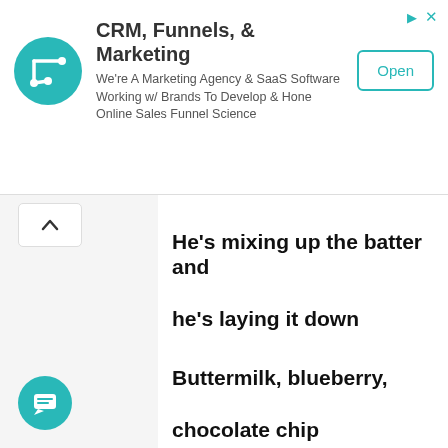[Figure (other): Advertisement banner for CRM, Funnels & Marketing agency with logo, description text, and Open button]
He's mixing up the batter and he's laying it down
Buttermilk, blueberry, chocolate chip
50 million pancakes he's gonna flip

All you can eat, (yum yum)
All you can eat, (yum yum)
The pancake robot is coming to